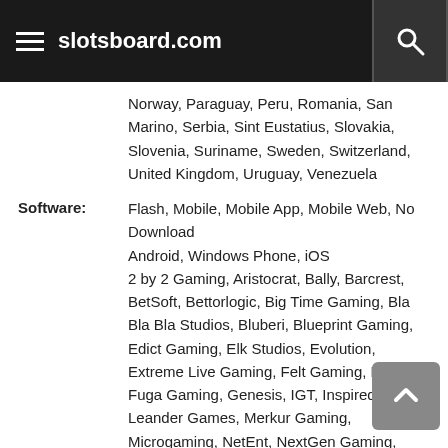slotsboard.com
Norway, Paraguay, Peru, Romania, San Marino, Serbia, Sint Eustatius, Slovakia, Slovenia, Suriname, Sweden, Switzerland, United Kingdom, Uruguay, Venezuela
Software: Flash, Mobile, Mobile App, Mobile Web, No Download
Android, Windows Phone, iOS
2 by 2 Gaming, Aristocrat, Bally, Barcrest, BetSoft, Bettorlogic, Big Time Gaming, Bla Bla Bla Studios, Bluberi, Blueprint Gaming, Edict Gaming, Elk Studios, Evolution, Extreme Live Gaming, Felt Gaming, Foxium, Fuga Gaming, Genesis, IGT, Inspired, Leander Games, Merkur Gaming, Microgaming, NetEnt, NextGen Gaming, Nolimit City, Nyx Interactive, Odobo, Play'n GO, PlayTech, Playson, Pragmatic Play, Push Gaming, Quickspin, Rabcat, Red Tiger Gaming, Saucify, Side City,